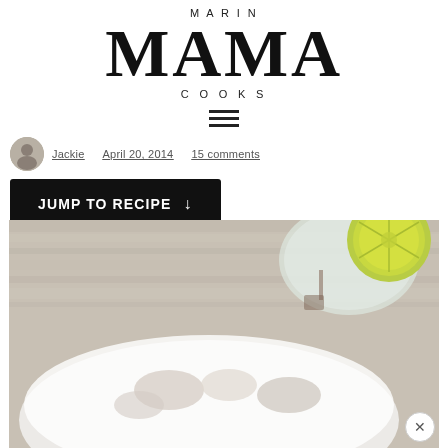[Figure (logo): Marin Mama Cooks logo with large serif MAMA text]
[Figure (infographic): Hamburger menu icon with three horizontal bars]
Jackie   April 20, 2014   15 comments
JUMP TO RECIPE ↓
[Figure (photo): Food photo showing a bowl of food with lime slices and a glass of water on a rustic wooden surface]